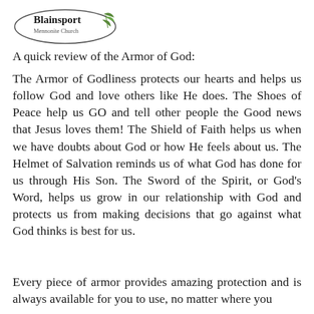[Figure (logo): Blainsport Mennonite Church logo with leaf/plant graphic and oval border]
A quick review of the Armor of God:
The Armor of Godliness protects our hearts and helps us follow God and love others like He does. The Shoes of Peace help us GO and tell other people the Good news that Jesus loves them! The Shield of Faith helps us when we have doubts about God or how He feels about us. The Helmet of Salvation reminds us of what God has done for us through His Son. The Sword of the Spirit, or God's Word, helps us grow in our relationship with God and protects us from making decisions that go against what God thinks is best for us.
Every piece of armor provides amazing protection and is always available for you to use, no matter where you